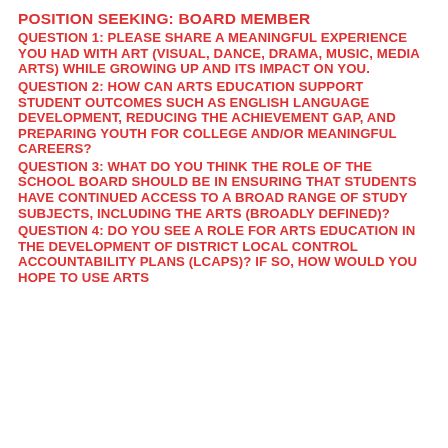POSITION SEEKING: BOARD MEMBER
QUESTION 1: PLEASE SHARE A MEANINGFUL EXPERIENCE YOU HAD WITH ART (VISUAL, DANCE, DRAMA, MUSIC, MEDIA ARTS) WHILE GROWING UP AND ITS IMPACT ON YOU.
QUESTION 2: HOW CAN ARTS EDUCATION SUPPORT STUDENT OUTCOMES SUCH AS ENGLISH LANGUAGE DEVELOPMENT, REDUCING THE ACHIEVEMENT GAP, AND PREPARING YOUTH FOR COLLEGE AND/OR MEANINGFUL CAREERS?
QUESTION 3: WHAT DO YOU THINK THE ROLE OF THE SCHOOL BOARD SHOULD BE IN ENSURING THAT STUDENTS HAVE CONTINUED ACCESS TO A BROAD RANGE OF STUDY SUBJECTS, INCLUDING THE ARTS (BROADLY DEFINED)?
QUESTION 4: DO YOU SEE A ROLE FOR ARTS EDUCATION IN THE DEVELOPMENT OF DISTRICT LOCAL CONTROL ACCOUNTABILITY PLANS (LCAPS)? IF SO, HOW WOULD YOU HOPE TO USE ARTS